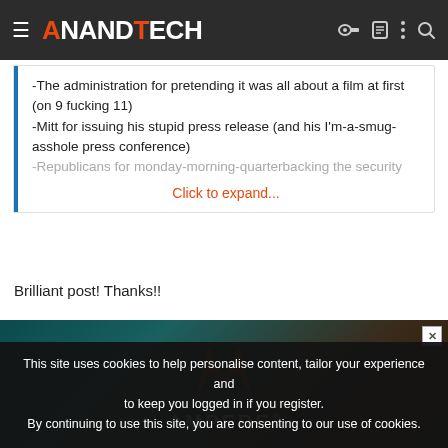AnandTech
-The administration for pretending it was all about a film at first (on 9 fucking 11)
-Mitt for issuing his stupid press release (and his I'm-a-smug-asshole press conference)
-Republicans for monday-morning-quarterbacking the security
Click to expand...
Brilliant post! Thanks!!
[Figure (other): AMPERE advertisement banner with red A-frame logo and white AMPERE wordmark on dark teal/brown background]
This site uses cookies to help personalise content, tailor your experience and to keep you logged in if you register.
By continuing to use this site, you are consenting to our use of cookies.